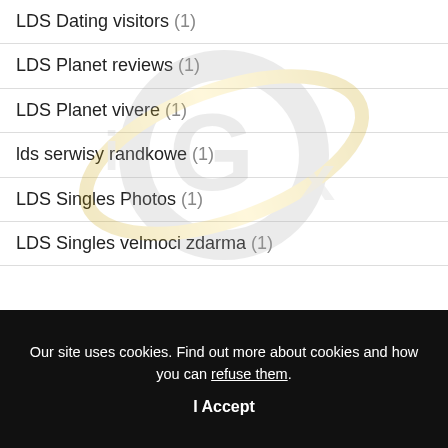LDS Dating visitors (1)
LDS Planet reviews (1)
LDS Planet vivere (1)
lds serwisy randkowe (1)
LDS Singles Photos (1)
LDS Singles velmoci zdarma (1)
Our site uses cookies. Find out more about cookies and how you can refuse them.
I Accept